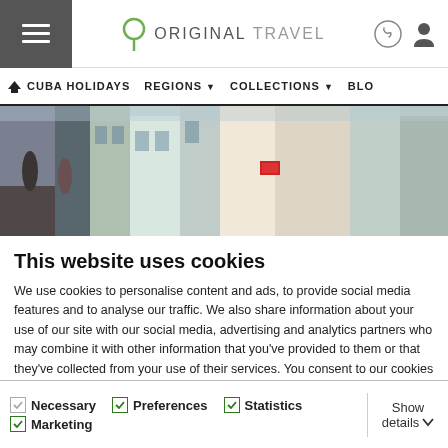Original Travel – Cuba Holidays | Regions | Collections | Blog
[Figure (photo): Colorful Cuban street scene with colonial buildings and people walking]
This website uses cookies
We use cookies to personalise content and ads, to provide social media features and to analyse our traffic. We also share information about your use of our site with our social media, advertising and analytics partners who may combine it with other information that you've provided to them or that they've collected from your use of their services. You consent to our cookies if you continue to use our website.
Allow all cookies
Allow selection
Use necessary cookies only
Necessary | Preferences | Statistics | Marketing | Show details